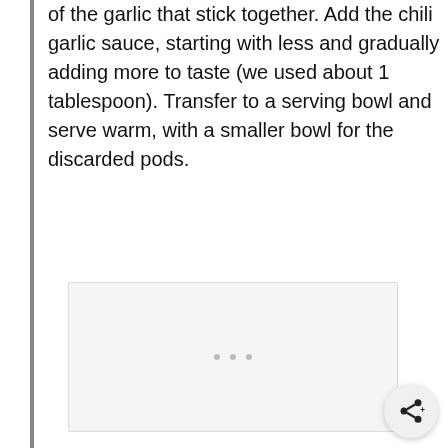of the garlic that stick together. Add the chili garlic sauce, starting with less and gradually adding more to taste (we used about 1 tablespoon). Transfer to a serving bowl and serve warm, with a smaller bowl for the discarded pods.
[Figure (photo): A light gray/white image placeholder box with three faint dots in the center, representing an image of the dish.]